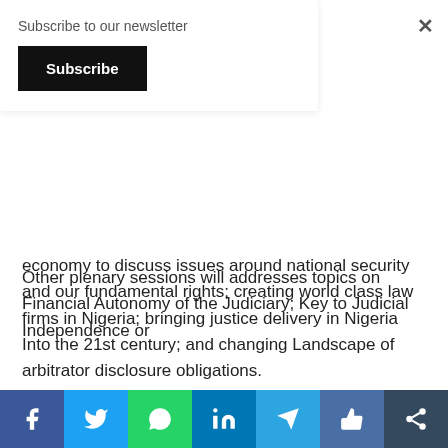Subscribe to our newsletter
Subscribe
economy to discuss issues around national security and our fundamental rights; creating world class law firms in Nigeria; bringing justice delivery in Nigeria Into the 21st century; and changing Landscape of arbitrator disclosure obligations.
Other plenary sessions will addresses topics on Financial Autonomy of the Judiciary; Key to Judicial Independence or
f  Twitter  WhatsApp  in  Telegram  Like  Share